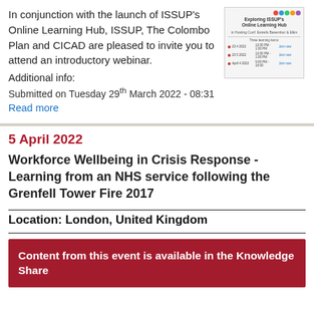In conjunction with the launch of ISSUP's Online Learning Hub, ISSUP, The Colombo Plan and CICAD are pleased to invite you to attend an introductory webinar.
[Figure (screenshot): Thumbnail screenshot of ISSUP's Online Learning Hub webinar registration page with colorful logo icons at top and session listings below.]
Additional info:
Submitted on Tuesday 29th March 2022 - 08:31
Read more
5 April 2022
Workforce Wellbeing in Crisis Response - Learning from an NHS service following the Grenfell Tower Fire 2017
Location: London, United Kingdom
Content from this event is available in the Knowledge Share